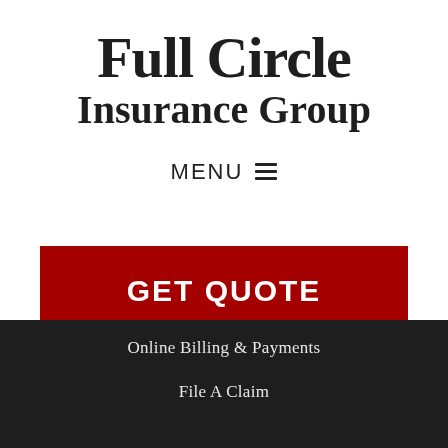Full Circle Insurance Group
MENU ☰
GET QUOTE
Online Billing & Payments
File A Claim